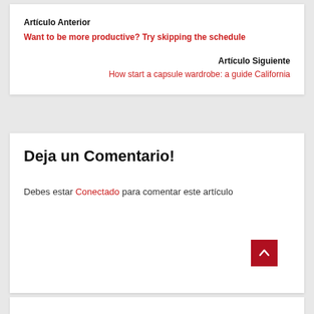Artículo Anterior
Want to be more productive? Try skipping the schedule
Artículo Siguiente
How start a capsule wardrobe: a guide California
Deja un Comentario!
Debes estar Conectado para comentar este artículo